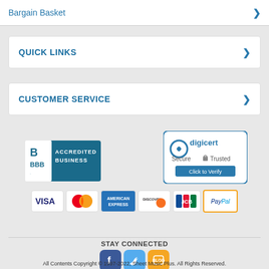Bargain Basket
QUICK LINKS
CUSTOMER SERVICE
[Figure (logo): BBB Accredited Business badge and DigiCert Secure Trusted badge, along with payment icons: VISA, MasterCard, American Express, Discover, JCB, PayPal]
STAY CONNECTED
[Figure (logo): Social media icons for Facebook, Twitter, and Blog]
All Contents Copyright © 1997-2022, Sheet Music Plus. All Rights Reserved.